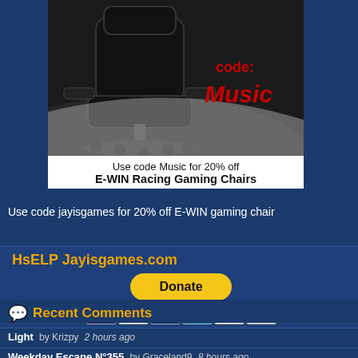[Figure (photo): Advertisement for E-WIN Racing Gaming Chair showing a black gaming chair on dark background with 'code: Music' text in red]
Use code Music for 20% off E-WIN Racing Gaming Chairs
Use code jayisgames for 20% off E-WIN gaming chair
HsELP Jayisgames.com
[Figure (other): PayPal Donate button with payment card logos (Visa, Mastercard, PayPal, Amex, Discover)]
Recent Comments
Light  by Krizpy  2 hours ago
Weekday Escape N°355  by Graceland9  8 hours ago